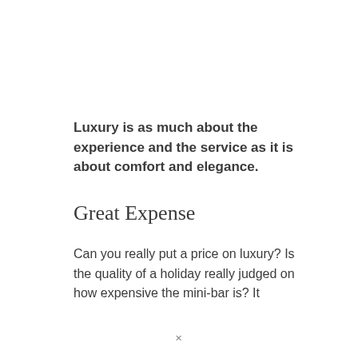Luxury is as much about the experience and the service as it is about comfort and elegance.
Great Expense
Can you really put a price on luxury? Is the quality of a holiday really judged on how expensive the mini-bar is? It